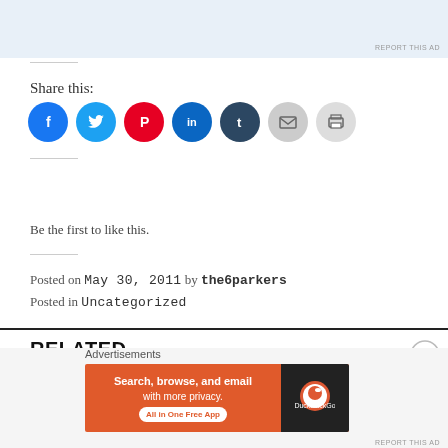[Figure (screenshot): Top advertisement banner area with light blue background]
REPORT THIS AD
Share this:
[Figure (infographic): Social sharing icons: Facebook (blue), Twitter (light blue), Pinterest (red), LinkedIn (dark blue), Tumblr (dark navy), Email (gray), Print (light gray) — all circular icon buttons]
[Figure (infographic): Like button widget with star icon and text 'Like'. Below: 'Be the first to like this.']
Be the first to like this.
Posted on May 30, 2011 by the6parkers
Posted in Uncategorized
RELATED
[Figure (screenshot): Bottom advertisement: DuckDuckGo banner ad — orange left side with text 'Search, browse, and email with more privacy. All in One Free App' and dark right side with DuckDuckGo logo]
Advertisements
REPORT THIS AD